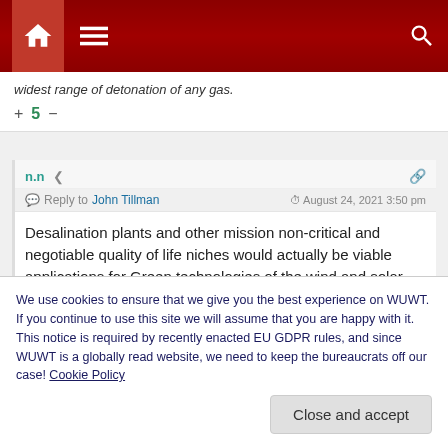[Figure (screenshot): Website navigation bar with home icon, hamburger menu, and search icon on dark red background]
widest range of detonation of any gas.
+ 5 −
n.n
Reply to John Tillman   August 24, 2021 3:50 pm
Desalination plants and other mission non-critical and negotiable quality of life niches would actually be viable applications for Green technologies of the wind and solar kind. With one caviat: liability for environmental impact (abort the
We use cookies to ensure that we give you the best experience on WUWT. If you continue to use this site we will assume that you are happy with it. This notice is required by recently enacted EU GDPR rules, and since WUWT is a globally read website, we need to keep the bureaucrats off our case! Cookie Policy
Close and accept